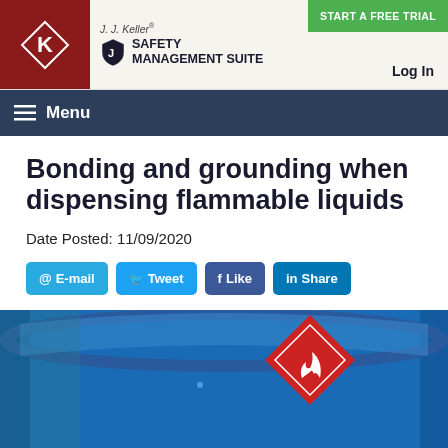J. J. Keller® SAFETY MANAGEMENT SUITE | START A FREE TRIAL | Log In
Menu
Bonding and grounding when dispensing flammable liquids
Date Posted: 11/09/2020
E-mail  Tweet  Like  Share
[Figure (photo): Close-up photo of a blue industrial drum/barrel with a red hazard diamond (flammable) label on it]